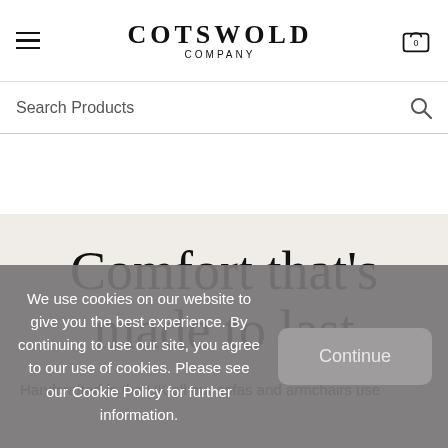COTSWOLD COMPANY
Search Products
Comfort that's made to last
Handcrafted in the UK all our sofas and armchairs use
We use cookies on our website to give you the best experience. By continuing to use our site, you agree to our use of cookies. Please see our Cookie Policy for further information.